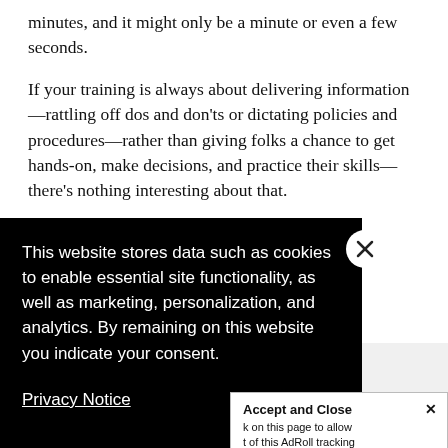minutes, and it might only be a minute or even a few seconds.
If your training is always about delivering information—rattling off dos and don'ts or dictating policies and procedures—rather than giving folks a chance to get hands-on, make decisions, and practice their skills—there's nothing interesting about that.
[partially obscured] ngage them. [partially obscured] ple pay
[Figure (screenshot): Cookie consent overlay on a black background stating: 'This website stores data such as cookies to enable essential site functionality, as well as marketing, personalization, and analytics. By remaining on this website you indicate your consent.' with a Privacy Notice link and a close (X) button. An 'Accept and Close x' banner appears at bottom right with partial AdRoll tracking text.]
Y... A... b... clicking here. This message only appears once. Me: When I think about training that interacted b...